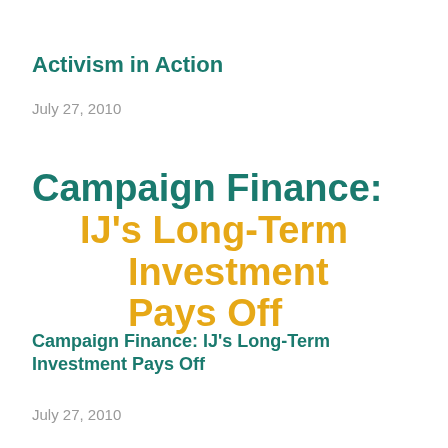Activism in Action
July 27, 2010
Campaign Finance: IJ's Long-Term Investment Pays Off
Campaign Finance: IJ's Long-Term Investment Pays Off
July 27, 2010